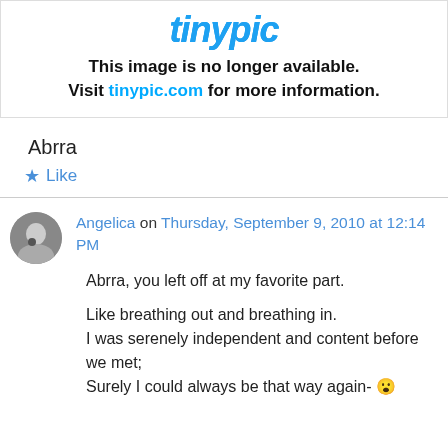[Figure (screenshot): Tinypic placeholder image showing logo and 'This image is no longer available. Visit tinypic.com for more information.']
Abrra
★ Like
Angelica on Thursday, September 9, 2010 at 12:14 PM
Abrra, you left off at my favorite part.
Like breathing out and breathing in.
I was serenely independent and content before we met;
Surely I could always be that way again- 😮